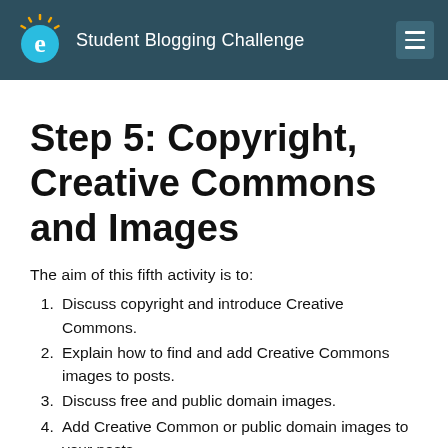Student Blogging Challenge
Step 5: Copyright, Creative Commons and Images
The aim of this fifth activity is to:
Discuss copyright and introduce Creative Commons.
Explain how to find and add Creative Commons images to posts.
Discuss free and public domain images.
Add Creative Common or public domain images to your posts.